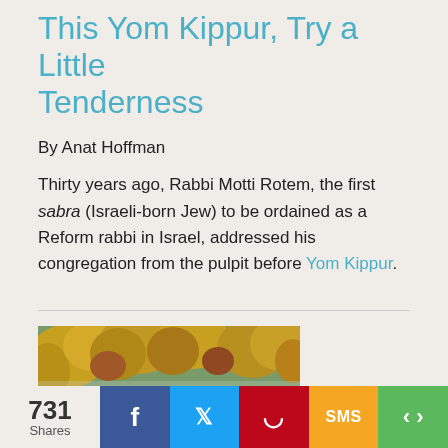This Yom Kippur, Try a Little Tenderness
By Anat Hoffman
Thirty years ago, Rabbi Motti Rotem, the first sabra (Israeli-born Jew) to be ordained as a Reform rabbi in Israel, addressed his congregation from the pulpit before Yom Kippur.
[Figure (photo): An autumn tree-lined path with yellow and orange foliage]
731 Shares | Facebook | Twitter | Pinterest | SMS | Share